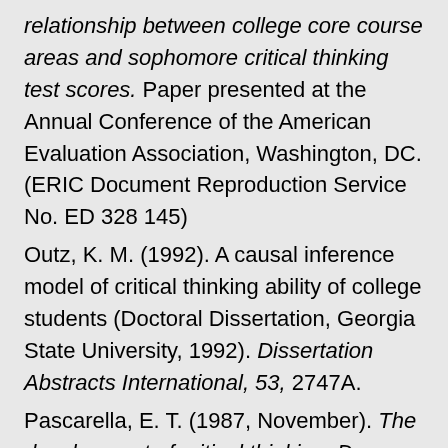relationship between college core course areas and sophomore critical thinking test scores. Paper presented at the Annual Conference of the American Evaluation Association, Washington, DC. (ERIC Document Reproduction Service No. ED 328 145)
Outz, K. M. (1992). A causal inference model of critical thinking ability of college students (Doctoral Dissertation, Georgia State University, 1992). Dissertation Abstracts International, 53, 2747A.
Pascarella, E. T. (1987, November). The development of critical thinking: Does college make a difference? Baltimore, MD: Association for the Study of Higher